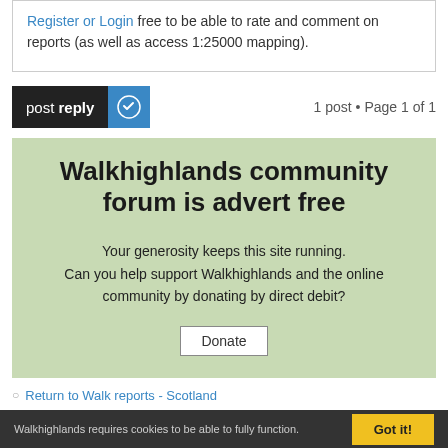Register or Login free to be able to rate and comment on reports (as well as access 1:25000 mapping).
post reply  •  1 post • Page 1 of 1
Walkhighlands community forum is advert free
Your generosity keeps this site running.
Can you help support Walkhighlands and the online community by donating by direct debit?
Donate
Return to Walk reports - Scotland
Walkhighlands requires cookies to be able to fully function.